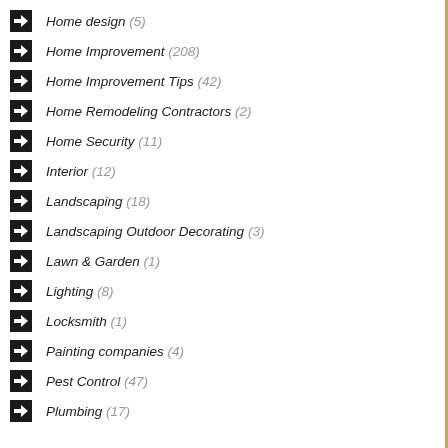Home design (5)
Home Improvement (208)
Home Improvement Tips (42)
Home Remodeling Contractors (2)
Home Security (11)
Interior (12)
Landscaping (18)
Landscaping Outdoor Decorating (3)
Lawn & Garden (1)
Lighting (8)
Locksmith (1)
Painting companies (4)
Pest Control (47)
Plumbing (17)